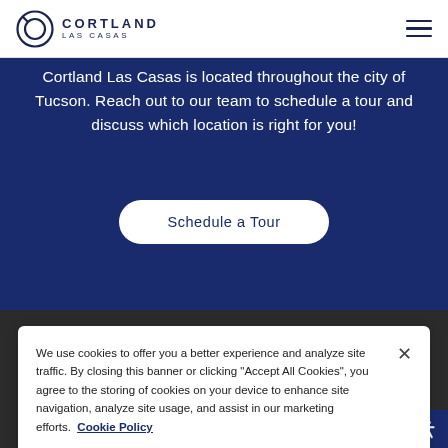Cortland Las Casas
Cortland Las Casas is located throughout the city of Tucson. Reach out to our team to schedule a tour and discuss which location is right for you!
Schedule a Tour
We use cookies to offer you a better experience and analyze site traffic. By closing this banner or clicking “Accept All Cookies”, you agree to the storing of cookies on your device to enhance site navigation, analyze site usage, and assist in our marketing efforts.  Cookie Policy
Cookie Settings
Accept All Cookies